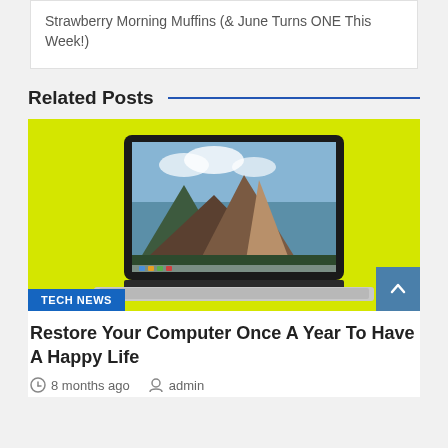Strawberry Morning Muffins (& June Turns ONE This Week!)
Related Posts
[Figure (photo): A MacBook Pro laptop on a bright yellow-green background with a TECH NEWS badge at the bottom left and a scroll-to-top button at the bottom right.]
Restore Your Computer Once A Year To Have A Happy Life
8 months ago   admin